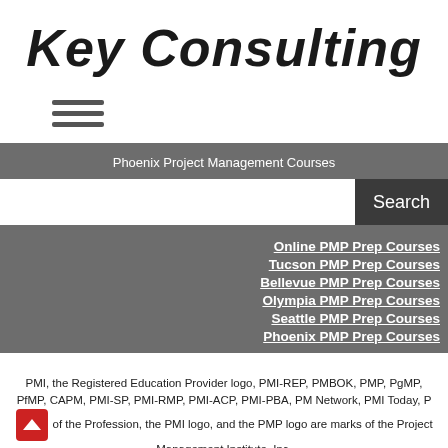Key Consulting
[Figure (other): Hamburger menu icon (three horizontal lines)]
Phoenix Project Management Courses
Search
Online PMP Prep Courses
Tucson PMP Prep Courses
Bellevue PMP Prep Courses
Olympia PMP Prep Courses
Seattle PMP Prep Courses
Phoenix PMP Prep Courses
PMI, the Registered Education Provider logo, PMI-REP, PMBOK, PMP, PgMP, PfMP, CAPM, PMI-SP, PMI-RMP, PMI-ACP, PMI-PBA, PM Network, PMI Today, Pulse of the Profession, the PMI logo, and the PMP logo are marks of the Project Management Institute, Inc.